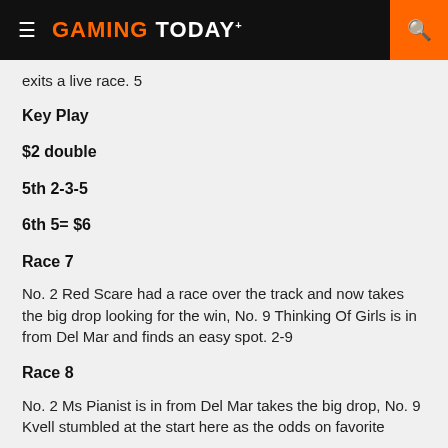GAMING TODAY
exits a live race. 5
Key Play
$2 double
5th 2-3-5
6th 5= $6
Race 7
No. 2 Red Scare had a race over the track and now takes the big drop looking for the win, No. 9 Thinking Of Girls is in from Del Mar and finds an easy spot. 2-9
Race 8
No. 2 Ms Pianist is in from Del Mar takes the big drop, No. 9 Kvell stumbled at the start here as the odds on favorite